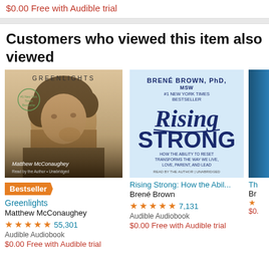$0.00 Free with Audible trial
Customers who viewed this item also viewed
[Figure (photo): Greenlights audiobook cover showing Matthew McConaughey]
Bestseller
Greenlights
Matthew McConaughey
55,301
Audible Audiobook
$0.00 Free with Audible trial
[Figure (photo): Rising Strong audiobook cover by Brené Brown]
Rising Strong: How the Abil...
Brené Brown
7,131
Audible Audiobook
$0.00 Free with Audible trial
[Figure (photo): Third book cover, partially visible, blue cover]
Th...
Br...
$0...